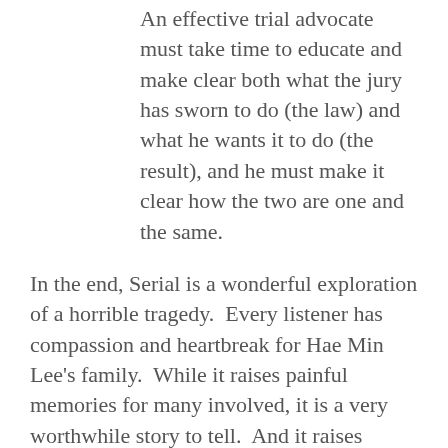An effective trial advocate must take time to educate and make clear both what the jury has sworn to do (the law) and what he wants it to do (the result), and he must make it clear how the two are one and the same.
In the end, Serial is a wonderful exploration of a horrible tragedy.  Every listener has compassion and heartbreak for Hae Min Lee's family.  While it raises painful memories for many involved, it is a very worthwhile story to tell.  And it raises important, and sometimes troubling, questions about the investigation, trial and Adnan's involvement.
For entertainment's sake, alone, the podcast is worthwhile, but if you keep your ears open it will